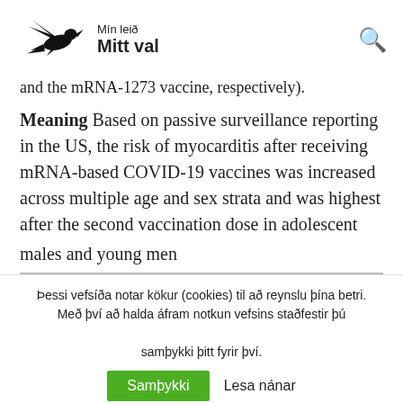Mín leið Mitt val
and the mRNA-1273 vaccine, respectively).
Meaning  Based on passive surveillance reporting in the US, the risk of myocarditis after receiving mRNA-based COVID-19 vaccines was increased across multiple age and sex strata and was highest after the second vaccination dose in adolescent males and young men
Þessi vefsíða notar kökur (cookies) til að reynslu þína betri. Með því að halda áfram notkun vefsins staðfestir þú samþykki þitt fyrir því.
Samþykki  Lesa nánar